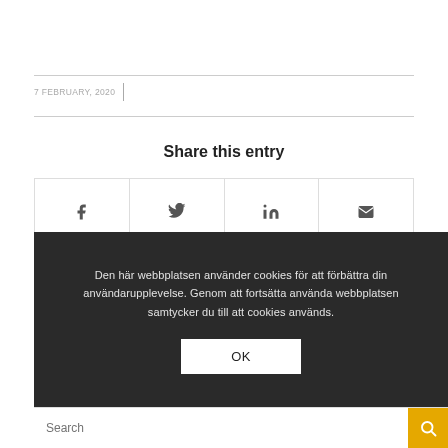7 FEBRUARY, 2020
Share this entry
[Figure (other): Social share icon row with Facebook, Twitter, LinkedIn, and Email icons]
Den här webbplatsen använder cookies för att förbättra din användarupplevelse. Genom att fortsätta använda webbplatsen samtycker du till att cookies används.
OK
Search